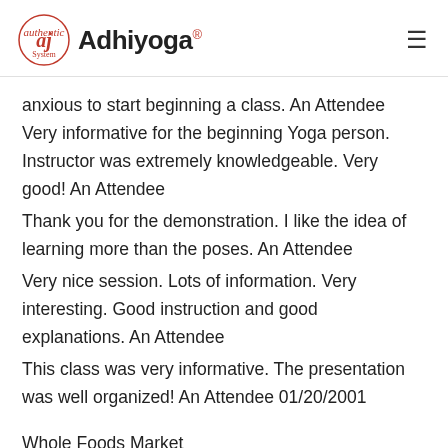Adhiyoga®
anxious to start beginning a class. An Attendee Very informative for the beginning Yoga person. Instructor was extremely knowledgeable. Very good! An Attendee Thank you for the demonstration. I like the idea of learning more than the poses. An Attendee Very nice session. Lots of information. Very interesting. Good instruction and good explanations. An Attendee This class was very informative. The presentation was well organized! An Attendee 01/20/2001
Whole Foods Market